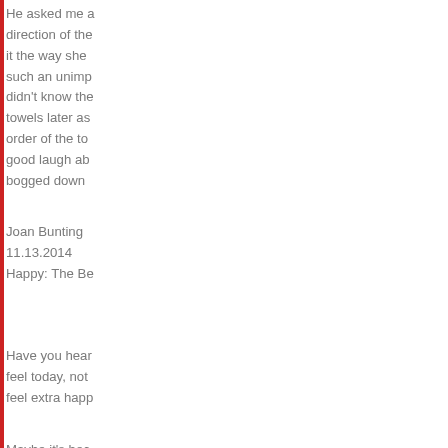He asked me a direction of the it the way she such an unimp didn't know the towels later as order of the to good laugh ab bogged down
Joan Bunting
11.13.2014
Happy: The Be
Have you hear feel today, not feel extra happ
Maybe it's bec feel exuberant talking and I m also the baby month and got